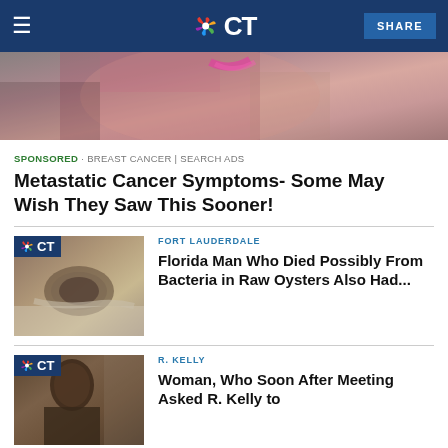≡  NBC CT  SHARE
[Figure (photo): Close-up photo of a woman's torso wearing a dark sports bra with pink strap, hands touching chest area]
SPONSORED · BREAST CANCER | SEARCH ADS
Metastatic Cancer Symptoms- Some May Wish They Saw This Sooner!
[Figure (photo): NBC CT thumbnail with oyster held in hand on foil background]
FORT LAUDERDALE
Florida Man Who Died Possibly From Bacteria in Raw Oysters Also Had...
[Figure (photo): NBC CT thumbnail with side profile of a Black man]
R. KELLY
Woman, Who Soon After Meeting Asked R. Kelly to